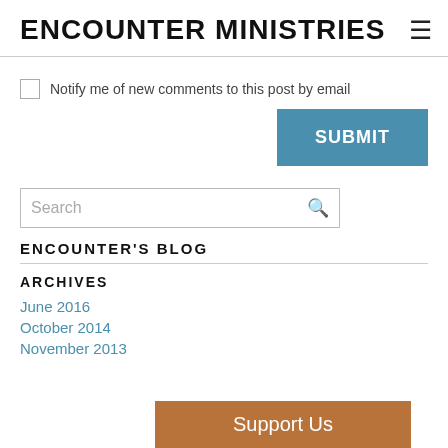ENCOUNTER MINISTRIES
Notify me of new comments to this post by email
SUBMIT
Search
ENCOUNTER'S BLOG
ARCHIVES
June 2016
October 2014
November 2013
Support Us